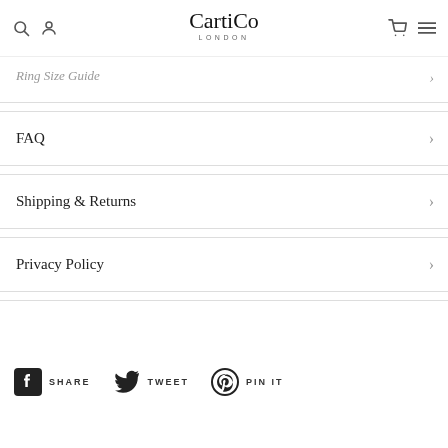CartiCo LONDON
Ring Size Guide
FAQ
Shipping & Returns
Privacy Policy
SHARE  TWEET  PIN IT